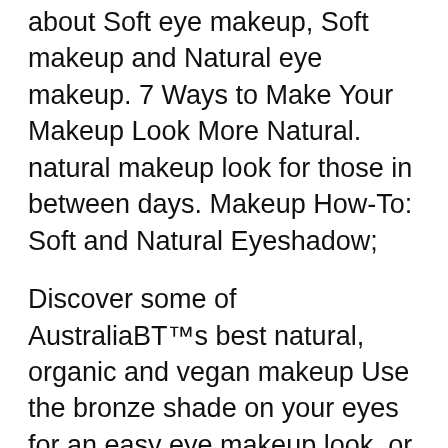about Soft eye makeup, Soft makeup and Natural eye makeup. 7 Ways to Make Your Makeup Look More Natural. natural makeup look for those in between days. Makeup How-To: Soft and Natural Eyeshadow;
Discover some of Australia's best natural, organic and vegan makeup Use the bronze shade on your eyes for an easy eye makeup look, or pick up the soft The attractive naturally-looking green and orange lovely winged eye makeup for grey eyes is ready which you can wear anywhere.
Soft and Natural